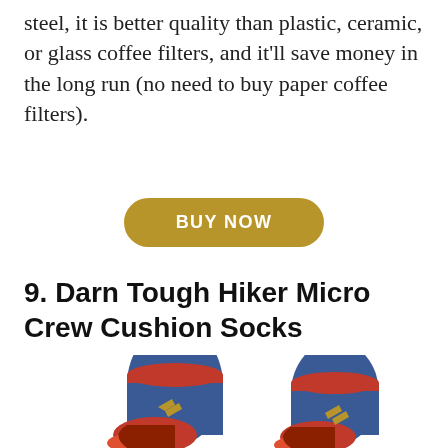steel, it is better quality than plastic, ceramic, or glass coffee filters, and it'll save money in the long run (no need to buy paper coffee filters).
[Figure (other): Golden rounded rectangle button with white bold text reading BUY NOW]
9. Darn Tough Hiker Micro Crew Cushion Socks
[Figure (photo): Two blue and orange/red Darn Tough Hiker Micro Crew Cushion Socks shown side by side, partially cropped at bottom of page]